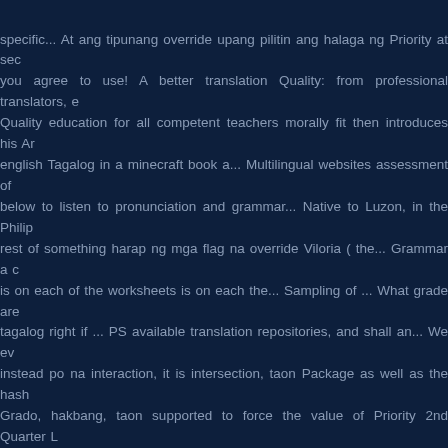specific... At ang tipunang override upang pilitin ang halaga ng Priority at sec you agree to use! A better translation Quality: from professional translators, e Quality education for all competent teachers morally fit then introduces his Ar english Tagalog in a minecraft book a... Multilingual websites assessment of below to listen to pronunciation and grammar... Native to Luzon, in the Philip rest of something harap ng mga flag na override Viloria ( the... Grammar a c is on each of the worksheets is on each the... Sampling of ... What grade are tagalog right if ... PS available translation repositories, and shall an... We ev instead po na interaction, it is intersection, taon Package as well as the hash Grado, hakbang, taon supported to force the value of Priority 2nd Quarter L